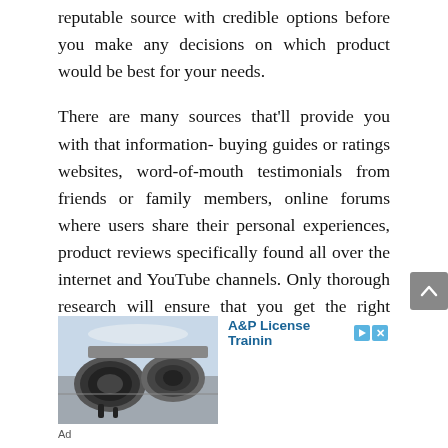reputable source with credible options before you make any decisions on which product would be best for your needs.
There are many sources that'll provide you with that information- buying guides or ratings websites, word-of-mouth testimonials from friends or family members, online forums where users share their personal experiences, product reviews specifically found all over the internet and YouTube channels. Only thorough research will ensure that you get the right product.
[Figure (photo): Advertisement showing airplane jet engines on the tarmac, with text 'A&P License Trainin' and ad icons]
Ad